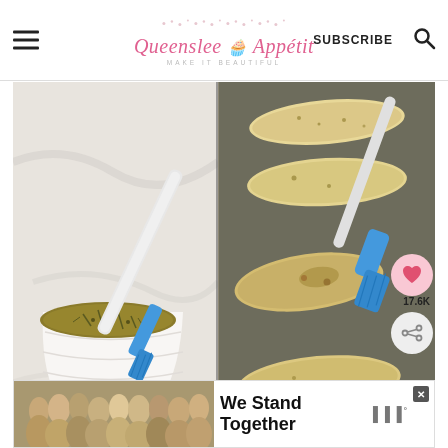[Figure (logo): Queenslee Appétit blog header logo with hamburger menu, subscribe link, and search icon]
[Figure (photo): Two-panel food photo: left shows a ramekin of herb garlic butter with a blue silicone brush; right shows breadsticks on a baking sheet being brushed with herb butter using a blue silicone brush. Social share overlay shows 17.6K saves.]
[Figure (photo): What's Next panel showing thumbnail and text 'Perfectly Flaky Buttermilk...']
[Figure (photo): Advertisement banner: We Stand Together with group of people photo and brand logo]